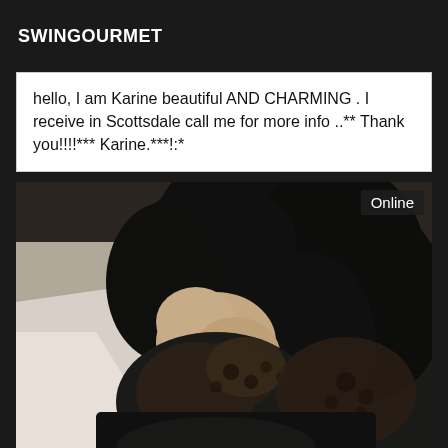SWINGOURMET
hello, I am Karine beautiful AND CHARMING . I receive in Scottsdale call me for more info ..** Thank you!!!!*** Karine.***!:*
[Figure (photo): Photo of a woman with dark hair wearing black lace lingerie, head tilted down, with an 'Online' badge in the top right corner]